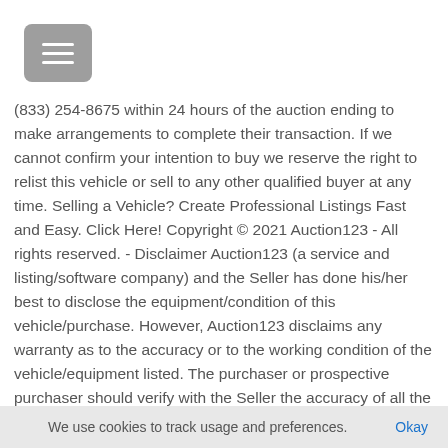[Figure (other): Gray rounded rectangle menu/hamburger button icon]
(833) 254-8675 within 24 hours of the auction ending to make arrangements to complete their transaction. If we cannot confirm your intention to buy we reserve the right to relist this vehicle or sell to any other qualified buyer at any time. Selling a Vehicle? Create Professional Listings Fast and Easy. Click Here! Copyright © 2021 Auction123 - All rights reserved. - Disclaimer Auction123 (a service and listing/software company) and the Seller has done his/her best to disclose the equipment/condition of this vehicle/purchase. However, Auction123 disclaims any warranty as to the accuracy or to the working condition of the vehicle/equipment listed. The purchaser or prospective purchaser should verify with the Seller the accuracy of all the information listed within this ad. 1971 Beechcraft A60 Duke for Sale in Morristown, NJ 07960 1971 Beechcraft A60 Duke Offered for Sale with No Damage History and Logs Complete. Specifications Total Time: 3,800 SMOH
We use cookies to track usage and preferences.  Okay